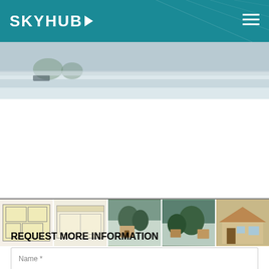SKYHUB
[Figure (photo): Hero image showing a snowy winter landscape with a road]
[Figure (photo): Thumbnail strip showing 5 images: two floor plan diagrams, two winter outdoor property photos, and one house exterior photo]
[Figure (infographic): Contact card with SKYHUB logo on the left and three action buttons: TEXT MESSAGE, CALL NOW, BOOK A TOUR on the right]
REQUEST MORE INFORMATION
Name *
Phone *
Email *